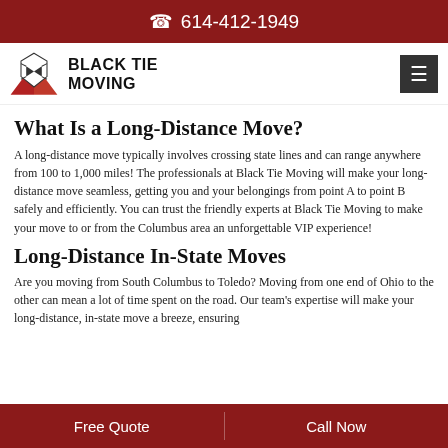614-412-1949
[Figure (logo): Black Tie Moving logo with triangle/bowtie graphic and company name]
What Is a Long-Distance Move?
A long-distance move typically involves crossing state lines and can range anywhere from 100 to 1,000 miles! The professionals at Black Tie Moving will make your long-distance move seamless, getting you and your belongings from point A to point B safely and efficiently. You can trust the friendly experts at Black Tie Moving to make your move to or from the Columbus area an unforgettable VIP experience!
Long-Distance In-State Moves
Are you moving from South Columbus to Toledo? Moving from one end of Ohio to the other can mean a lot of time spent on the road. Our team's expertise will make your long-distance, in-state move a breeze, ensuring
Free Quote    Call Now